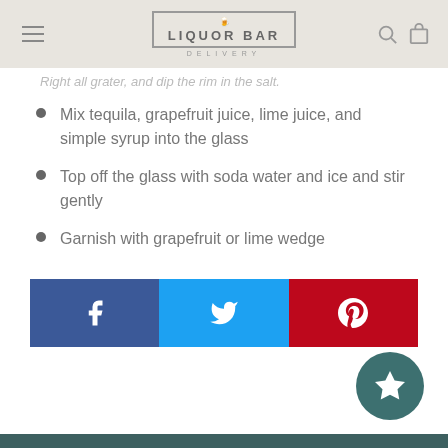Liquor Bar Delivery
Right all grater, and dip the rim in the salt.
Mix tequila, grapefruit juice, lime juice, and simple syrup into the glass
Top off the glass with soda water and ice and stir gently
Garnish with grapefruit or lime wedge
[Figure (infographic): Social share bar with Facebook, Twitter, and Pinterest buttons]